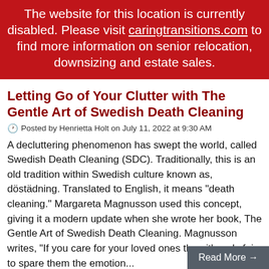The website for this location is currently disabled. Please visit caringtransitions.com to find more information on senior relocation, downsizing and estate sales.
Letting Go of Your Clutter with The Gentle Art of Swedish Death Cleaning
Posted by Henrietta Holt on July 11, 2022 at 9:30 AM
A decluttering phenomenon has swept the world, called Swedish Death Cleaning (SDC). Traditionally, this is an old tradition within Swedish culture known as, döstädning. Translated to English, it means "death cleaning." Margareta Magnusson used this concept, giving it a modern update when she wrote her book, The Gentle Art of Swedish Death Cleaning. Magnusson writes, "If you care for your loved ones then it's only fair to spare them the emotion...
Read More →